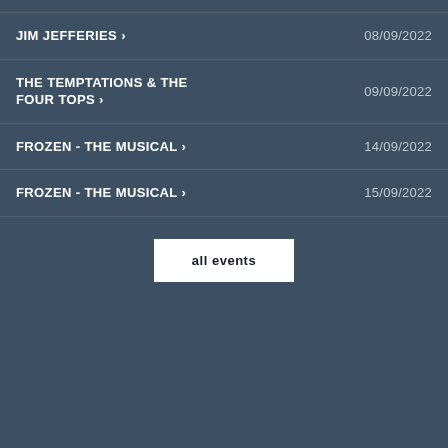JIM JEFFERIES > 08/09/2022
THE TEMPTATIONS & THE FOUR TOPS > 09/09/2022
FROZEN - THE MUSICAL > 14/09/2022
FROZEN - THE MUSICAL > 15/09/2022
all events